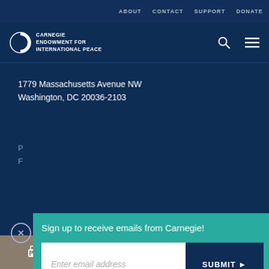ABOUT  CONTACT  SUPPORT  DONATE
[Figure (logo): Carnegie Endowment for International Peace logo - half circle icon with text]
1779 Massachusetts Avenue NW
Washington, DC 20036-2103
P
F
Sign up to receive emails from Carnegie!
Enter email address
SUBMIT ▶
our cookie policy.
[Figure (infographic): Social sharing bar with print, copy link, Facebook, Twitter, WhatsApp, Messenger, LinkedIn icons]